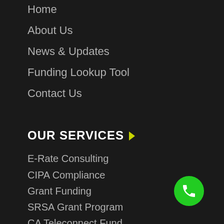Home
About Us
News & Updates
Funding Lookup Tool
Contact Us
OUR SERVICES
E-Rate Consulting
CIPA Compliance
Grant Funding
SRSA Grant Program
CA Teleconnect Fund